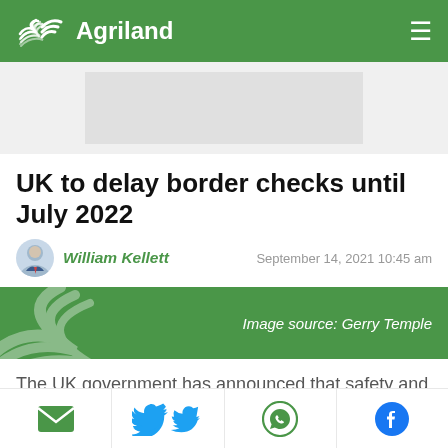Agriland
[Figure (other): Advertisement placeholder box]
UK to delay border checks until July 2022
William Kellett  —  September 14, 2021 10:45 am
[Figure (illustration): Green banner with Agriland watermark logo and text: Image source: Gerry Temple]
The UK government has announced that safety and security checks on EU produce at UK
[Figure (infographic): Social share bar with email, Twitter, WhatsApp, and Facebook icons]